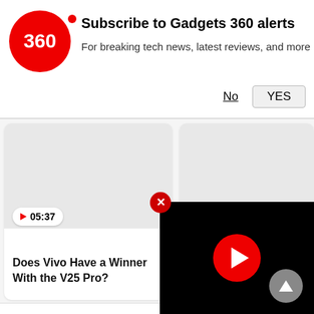[Figure (logo): Gadgets 360 circular red logo with '360' text]
Subscribe to Gadgets 360 alerts
For breaking tech news, latest reviews, and more
No   YES
[Figure (screenshot): Video card thumbnail placeholder - grey rectangle, duration badge 05:37]
Does Vivo Have a Winner With the V25 Pro?
[Figure (screenshot): Video card thumbnail placeholder - grey rectangle, duration badge 21:39]
Best Camera Phone Under Rs. 40,000 and Intervi
Tech News in Hindi »
5000mAh बैटरी, 4GB रैम के साथ Vivo Y16 की कीमत और स्पेसिफिकेशन लॉन्च, जानें कीमत
[Figure (screenshot): Floating black video player with YouTube-style red play button in center, red X close button in top-left corner]